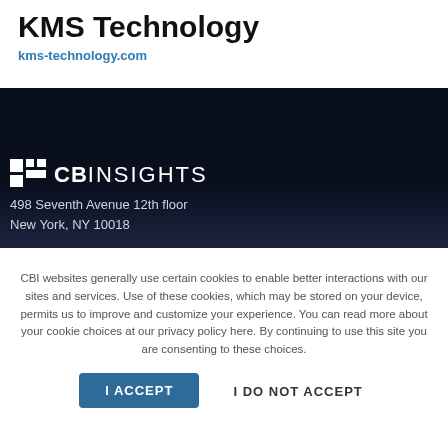KMS Technology
kms-technology.com
[Figure (logo): CB Insights logo with address: 498 Seventh Avenue 12th floor, New York, NY 10018 on dark navy background]
CBI websites generally use certain cookies to enable better interactions with our sites and services. Use of these cookies, which may be stored on your device, permits us to improve and customize your experience. You can read more about your cookie choices at our privacy policy here. By continuing to use this site you are consenting to these choices.
I ACCEPT
I DO NOT ACCEPT